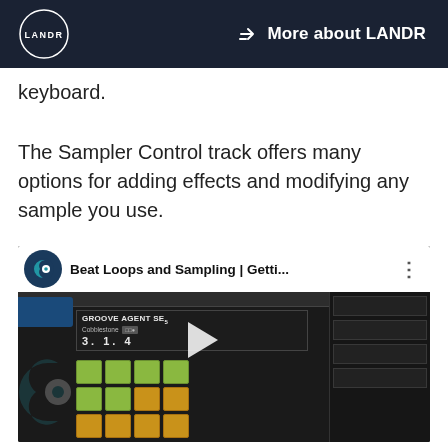LANDR | More about LANDR
keyboard.
The Sampler Control track offers many options for adding effects and modifying any sample you use.
[Figure (screenshot): YouTube video thumbnail showing Beat Loops and Sampling | Getti... with a DAW (Cubase/Groove Agent SE5) interface showing drum pads with green and yellow/orange pads, a play button overlay, and the Cobblestone preset with counter showing 3. 1. 4]